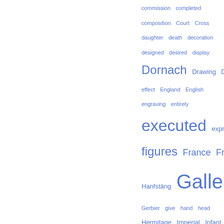[Figure (other): Word cloud / tag cloud showing index terms in various font sizes, all in blue color. Words shown include: commission, completed, composition, Court, Cross, daughter, death, decoration, designed, desired, display, Dornach, Drawing, Duke, effect, England, English, engraving, entirely, executed, expression, figures, France, Franz, Hanfstäng, Gallery, Gerbier, give, hand, head, Hermitage, Imperial, Infant, intended, Isabella, Italy, King, known, ladies, landscape, later, learned, letter, light, lived, Louvre, Madrid, Maria, master, Medici, Museum. Font size varies by word frequency.]